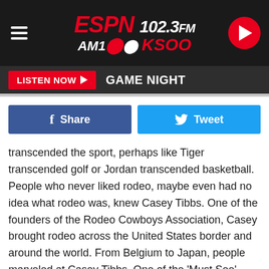[Figure (logo): ESPN 102.3 FM AM 1000 KSOO radio station logo in dark header bar with hamburger menu and play button]
LISTEN NOW ▶  GAME NIGHT
Share   Tweet
transcended the sport, perhaps like Tiger transcended golf or Jordan transcended basketball. People who never liked rodeo, maybe even had no idea what rodeo was, knew Casey Tibbs. One of the founders of the Rodeo Cowboys Association, Casey brought rodeo across the United States border and around the world. From Belgium to Japan, people marveled at Casey Tibbs. One of the 'Must See' destinations in South Dakota is the Casey Tibbs Rodeo Center in Ft. Pierre.
Casey passed away in January 1990 at just 60 years old and